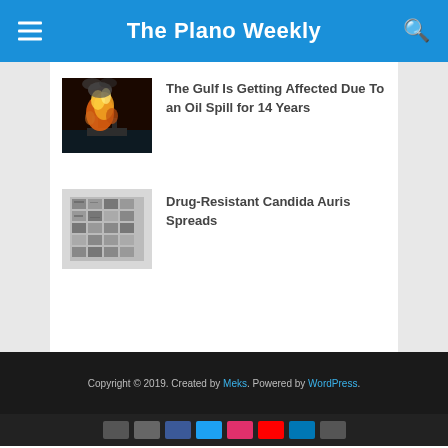The Plano Weekly
[Figure (photo): Oil rig fire with flames and smoke rising from an offshore platform]
The Gulf Is Getting Affected Due To an Oil Spill for 14 Years
[Figure (photo): Black and white image showing microscopic or close-up view, possibly a petri dish with Candida Auris culture]
Drug-Resistant Candida Auris Spreads
Copyright © 2019. Created by Meks. Powered by WordPress.